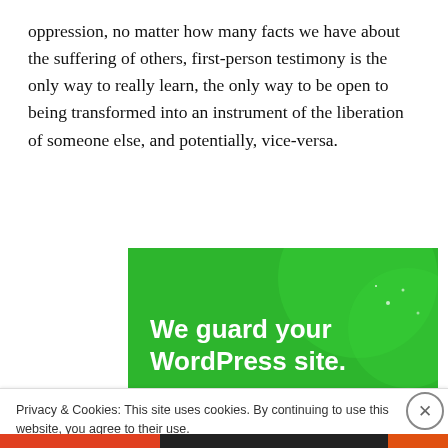oppression, no matter how many facts we have about the suffering of others, first-person testimony is the only way to really learn, the only way to be open to being transformed into an instrument of the liberation of someone else, and potentially, vice-versa.
[Figure (infographic): Green advertisement banner reading 'We guard your WordPress site. You run your business.' with circular decorative shapes in the background.]
Privacy & Cookies: This site uses cookies. By continuing to use this website, you agree to their use.
To find out more, including how to control cookies, see here: Cookie Policy